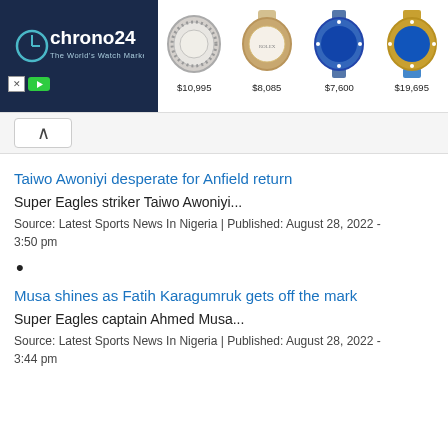[Figure (screenshot): Chrono24 advertisement banner showing logo and four luxury watches with prices: $10,995, $8,085, $7,600, $19,695]
[Figure (screenshot): Browser navigation up-arrow button]
Taiwo Awoniyi desperate for Anfield return
Super Eagles striker Taiwo Awoniyi...
Source: Latest Sports News In Nigeria | Published: August 28, 2022 - 3:50 pm
•
Musa shines as Fatih Karagumruk gets off the mark
Super Eagles captain Ahmed Musa...
Source: Latest Sports News In Nigeria | Published: August 28, 2022 - 3:44 pm